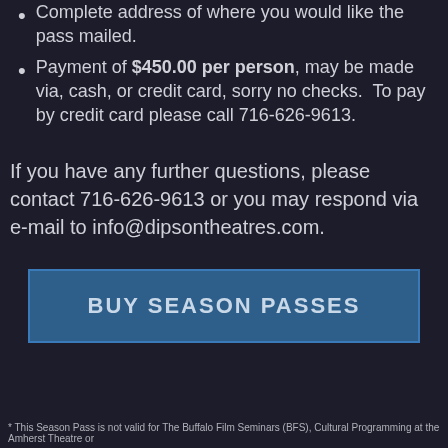Complete address of where you would like the pass mailed.
Payment of $450.00 per person, may be made via, cash, or credit card, sorry no checks.  To pay by credit card please call 716-626-9613.
If you have any further questions, please contact 716-626-9613 or you may respond via e-mail to info@dipsontheatres.com.
BUY SEASON PASSES
* This Season Pass is not valid for The Buffalo Film Seminars (BFS), Cultural Programming at the Amherst Theatre or